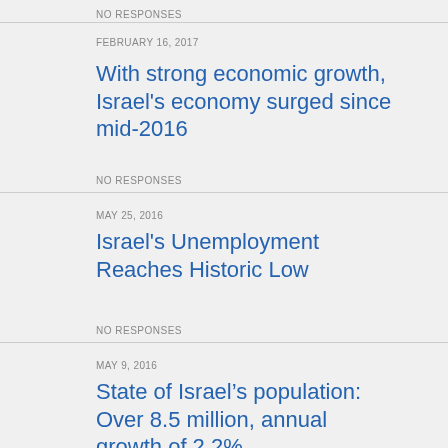NO RESPONSES
FEBRUARY 16, 2017
With strong economic growth, Israel's economy surged since mid-2016
NO RESPONSES
MAY 25, 2016
Israel's Unemployment Reaches Historic Low
NO RESPONSES
MAY 9, 2016
State of Israel’s population: Over 8.5 million, annual growth of 2.2%